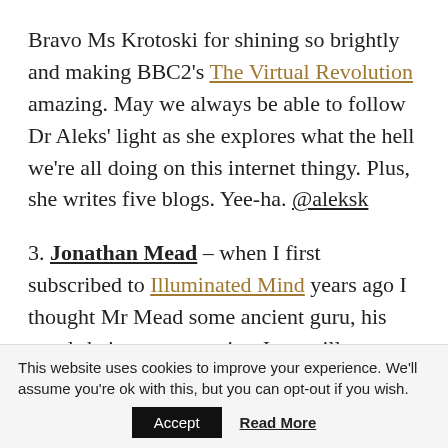Bravo Ms Krotoski for shining so brightly and making BBC2's The Virtual Revolution amazing. May we always be able to follow Dr Aleks' light as she explores what the hell we're all doing on this internet thingy. Plus, she writes five blogs. Yee-ha. @aleksk
3. Jonathan Mead – when I first subscribed to Illuminated Mind years ago I thought Mr Mead some ancient guru, his words being so very wise. I am still recovering from the shock to my assumption system when I saw his youthful pic
This website uses cookies to improve your experience. We'll assume you're ok with this, but you can opt-out if you wish.